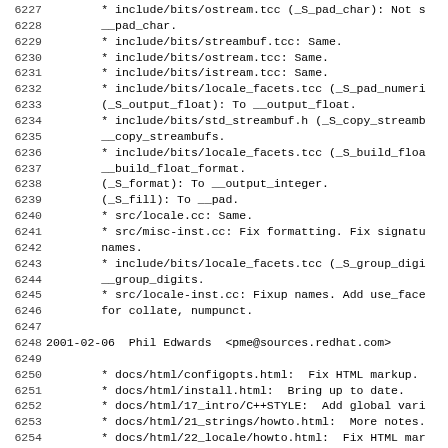6227-6258: Source code changelog entries showing file modifications and fixes
6227: * include/bits/ostream.tcc (_S_pad_char): Not s
6228:     __pad_char.
6229: * include/bits/streambuf.tcc: Same.
6230: * include/bits/ostream.tcc: Same.
6231: * include/bits/istream.tcc: Same.
6232: * include/bits/locale_facets.tcc (_S_pad_numeri
6233:     (_S_output_float): To __output_float.
6234: * include/bits/std_streambuf.h (_S_copy_streamb
6235:     __copy_streambufs.
6236: * include/bits/locale_facets.tcc (_S_build_floa
6237:     __build_float_format.
6238:     (_S_format): To __output_integer.
6239:     (_S_fill): To __pad.
6240: * src/locale.cc: Same.
6241: * src/misc-inst.cc: Fix formatting. Fix signatu
6242:     names.
6243: * include/bits/locale_facets.tcc (_S_group_digi
6244:     __group_digits.
6245: * src/locale-inst.cc: Fixup names. Add use_face
6246:     for collate, numpunct.
6247: (blank)
6248: 2001-02-06  Phil Edwards  <pme@sources.redhat.com>
6249: (blank)
6250: * docs/html/configopts.html:  Fix HTML markup.
6251: * docs/html/install.html:  Bring up to date.
6252: * docs/html/17_intro/C++STYLE:  Add global vari
6253: * docs/html/21_strings/howto.html:  More notes.
6254: * docs/html/22_locale/howto.html:  Fix HTML mar
6255: * docs/html/27_io/howto.html:  More notes.
6256: * docs/html/27_io/binary_iostreams_kanze.txt:
6257: * docs/html/27_io/binary_iostreams_kuehl.txt:
6258: (blank)